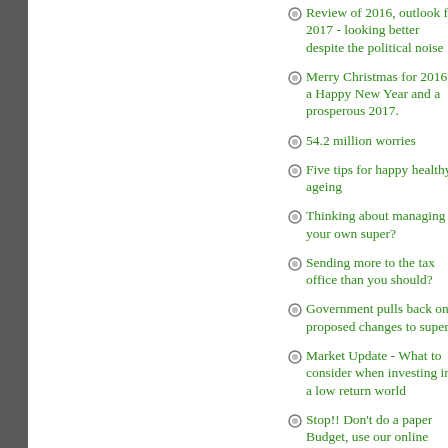Review of 2016, outlook for 2017 - looking better despite the political noise
Merry Christmas for 2016, a Happy New Year and a prosperous 2017.
54.2 million worries
Five tips for happy healthy ageing
Thinking about managing your own super?
Sending more to the tax office than you should?
Government pulls back on proposed changes to super
Market Update - What to consider when investing in a low return world
Stop!! Don't do a paper Budget, use our online budgeting tools instead.
Oliver's Insight -